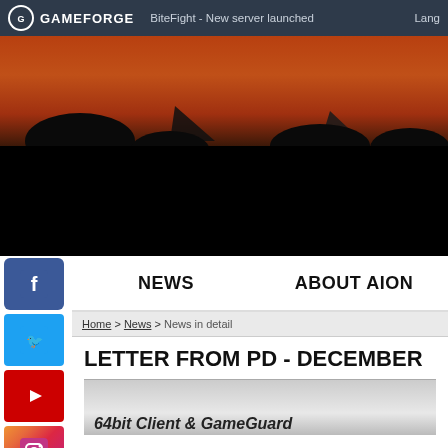GAMEFORGE | BiteFight - New server launched | Lang
[Figure (photo): Hero banner image showing a dark silhouetted landscape against an orange-red sunset sky, with the bottom portion fading to black. Two angular arrow/chevron shapes visible in silhouette.]
NEWS | ABOUT AION
Home > News > News in detail
LETTER FROM PD - DECEMBER
[Figure (photo): Partial article image showing a dark figure, with partial text visible: '64bit Client & GameGuard']